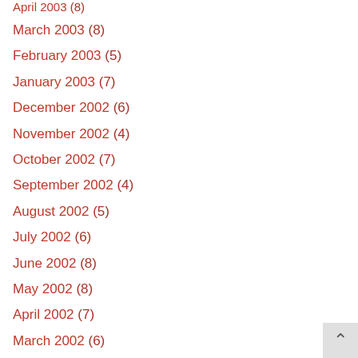April 2003 (8)
March 2003 (8)
February 2003 (5)
January 2003 (7)
December 2002 (6)
November 2002 (4)
October 2002 (7)
September 2002 (4)
August 2002 (5)
July 2002 (6)
June 2002 (8)
May 2002 (8)
April 2002 (7)
March 2002 (6)
February 2002 (2)